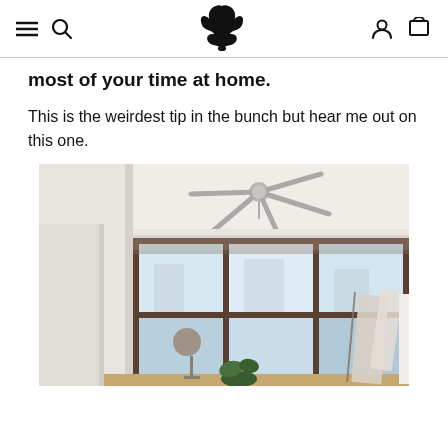Navigation bar with hamburger menu, search icon, bird logo, user icon, and cart icon
most of your time at home.
This is the weirdest tip in the bunch but hear me out on this one.
[Figure (photo): Interior room photo showing a ceiling fan above a large multi-pane window with roller blinds, white walls, a desk lamp, a plant, and frames leaning against the wall]